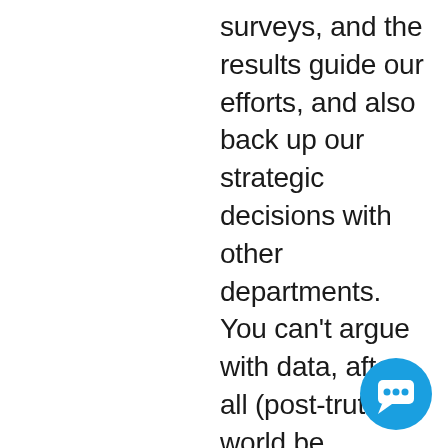surveys, and the results guide our efforts, and also back up our strategic decisions with other departments. You can't argue with data, after all (post-truth world be damned). So what makes an effective persona survey that gives you genuinely useful and enlightening results? Our Customer Experience Team is responsible for surveying our current
[Figure (other): Blue circular chat/support button icon in the bottom-right corner]